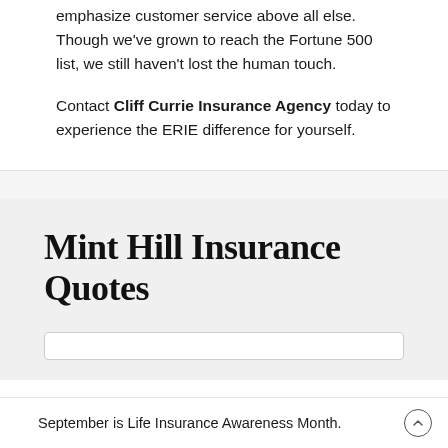emphasize customer service above all else. Though we've grown to reach the Fortune 500 list, we still haven't lost the human touch.
Contact Cliff Currie Insurance Agency today to experience the ERIE difference for yourself.
Mint Hill Insurance Quotes
September is Life Insurance Awareness Month.